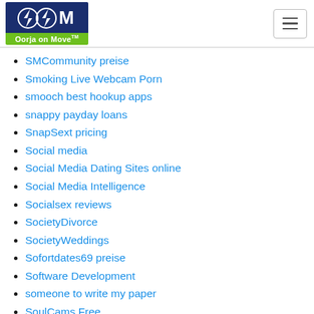Oorja on Move
SMCommunity preise
Smoking Live Webcam Porn
smooch best hookup apps
snappy payday loans
SnapSext pricing
Social media
Social Media Dating Sites online
Social Media Intelligence
Socialsex reviews
SocietyDivorce
SocietyWeddings
Sofortdates69 preise
Software Development
someone to write my paper
SoulCams Free